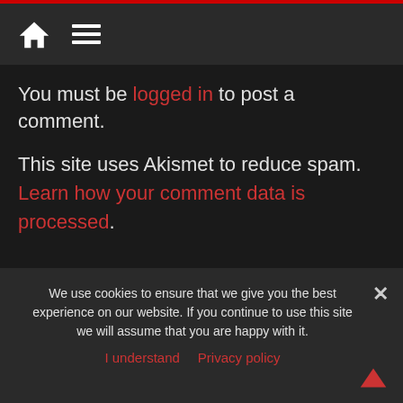Navigation bar with home icon and menu icon
You must be logged in to post a comment.
This site uses Akismet to reduce spam. Learn how your comment data is processed.
We use cookies to ensure that we give you the best experience on our website. If you continue to use this site we will assume that you are happy with it.
I understand   Privacy policy